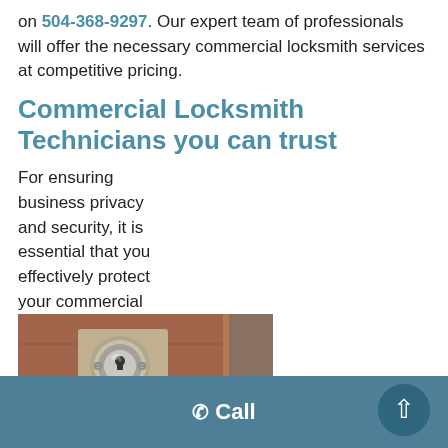on 504-368-9297. Our expert team of professionals will offer the necessary commercial locksmith services at competitive pricing.
Commercial Locksmith Technicians you can trust
For ensuring business privacy and security, it is essential that you effectively protect your commercial
[Figure (photo): Close-up photo of a commercial door lock cylinder and door handle on a wooden door with a deadbolt lock visible on the right]
Call